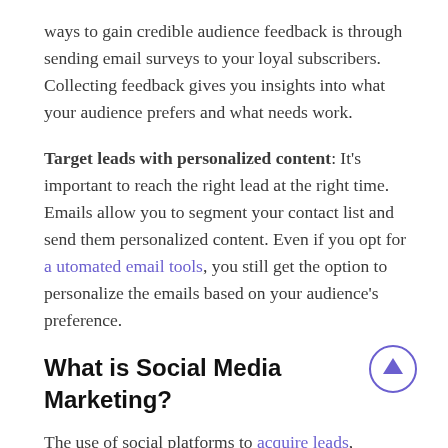ways to gain credible audience feedback is through sending email surveys to your loyal subscribers. Collecting feedback gives you insights into what your audience prefers and what needs work.
Target leads with personalized content: It's important to reach the right lead at the right time. Emails allow you to segment your contact list and send them personalized content. Even if you opt for automated email tools, you still get the option to personalize the emails based on your audience's preference.
What is Social Media Marketing?
The use of social platforms to acquire leads, promote your services or engage with an audience can be